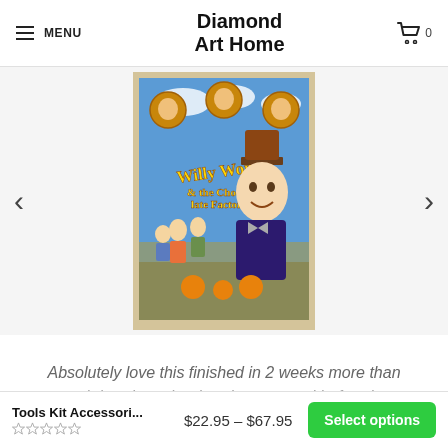MENU | Diamond Art Home | Cart 0
[Figure (photo): Willy Wonka and the Chocolate Factory movie poster/puzzle displayed on a clipboard-like backing, showing Gene Wilder as Willy Wonka and the cast, with 'Willy Wonka & the Chocolate Factory' text on the image. Navigation arrows on left and right sides.]
Absolutely love this finished in 2 weeks more than enough beads and ordered my second before I was finished with my first!!
Tools Kit Accessori... $22.95 – $67.95 Select options